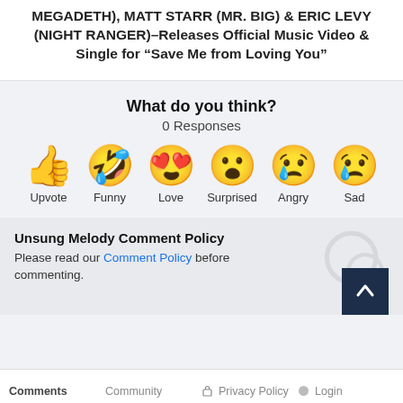MEGADETH), MATT STARR (MR. BIG) & ERIC LEVY (NIGHT RANGER)–Releases Official Music Video & Single for “Save Me from Loving You”
What do you think?
0 Responses
[Figure (infographic): Six emoji reaction buttons in a row: Upvote (thumbs up), Funny (laughing face with tongue), Love (heart eyes), Surprised (open mouth), Angry (crying/sad face), Sad (tear drop face). Each emoji is labeled below with its name.]
Unsung Melody Comment Policy
Please read our Comment Policy before commenting.
Comments   Community   Privacy Policy   Login